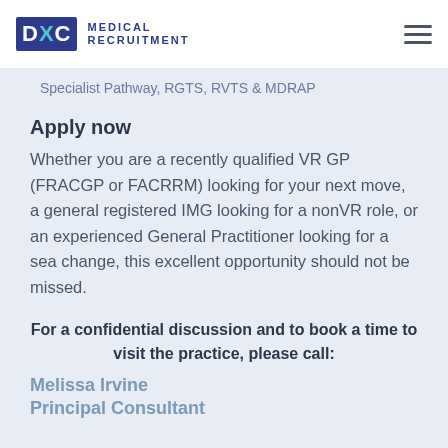DXC MEDICAL RECRUITMENT
Specialist Pathway, RGTS, RVTS & MDRAP
Apply now
Whether you are a recently qualified VR GP (FRACGP or FACRRM) looking for your next move, a general registered IMG looking for a nonVR role, or an experienced General Practitioner looking for a sea change, this excellent opportunity should not be missed.
For a confidential discussion and to book a time to visit the practice, please call:
Melissa Irvine
Principal Consultant